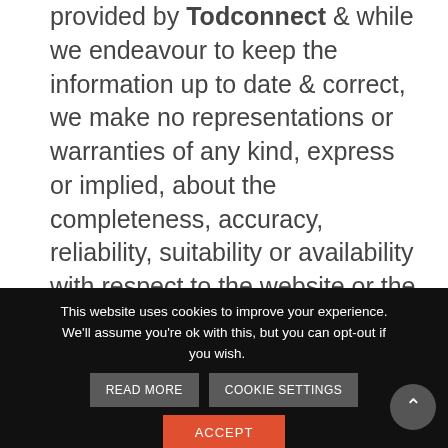provided by Todconnect & while we endeavour to keep the information up to date & correct, we make no representations or warranties of any kind, express or implied, about the completeness, accuracy, reliability, suitability or availability with respect to the website or the information, products, services, or related graphics contained on the website for any
This website uses cookies to improve your experience. We'll assume you're ok with this, but you can opt-out if you wish.
READ MORE   COOKIE SETTINGS   ACCEPT